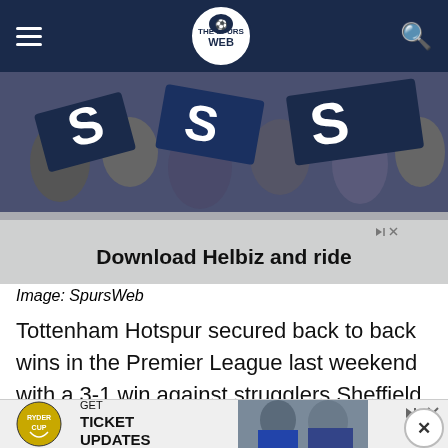SpursWeb navigation bar with hamburger menu, logo, and search icon
[Figure (photo): Tottenham Hotspur fans waving blue and white scarves, with an advertisement overlay reading 'Download Helbiz and ride']
Image: SpursWeb
Tottenham Hotspur secured back to back wins in the Premier League last weekend with a 3-1 win against strugglers Sheffield United.
Serge Aurier, Harry Kane and Tanguy Ndombele
[Figure (other): Ryder Cup advertisement: GET TICKET UPDATES with logo and players photo]